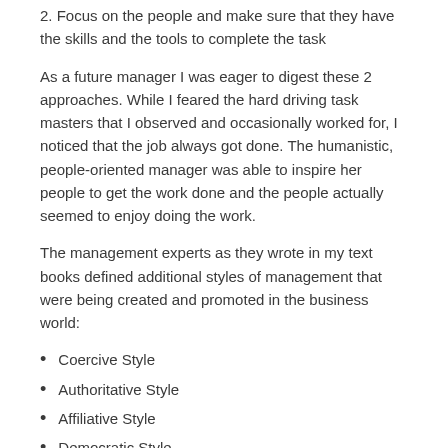2. Focus on the people and make sure that they have the skills and the tools to complete the task
As a future manager I was eager to digest these 2 approaches. While I feared the hard driving task masters that I observed and occasionally worked for, I noticed that the job always got done. The humanistic, people-oriented manager was able to inspire her people to get the work done and the people actually seemed to enjoy doing the work.
The management experts as they wrote in my text books defined additional styles of management that were being created and promoted in the business world:
Coercive Style
Authoritative Style
Affiliative Style
Democratic Style